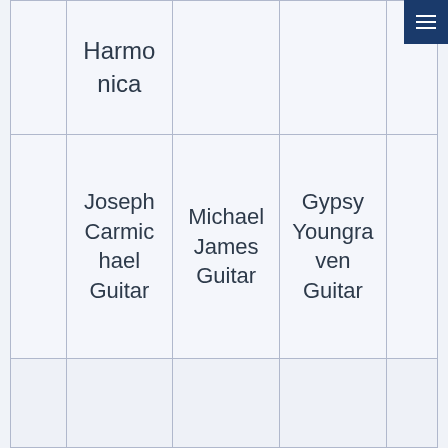|  | Harmonica |  |  |
|  | Joseph Carmichael Guitar | Michael James Guitar | Gypsy Youngraven Guitar |
|  |  |  |  |